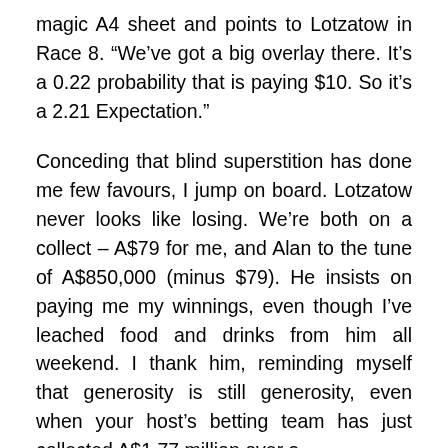magic A4 sheet and points to Lotzatow in Race 8. “We’ve got a big overlay there. It’s a 0.22 probability that is paying $10. So it’s a 2.21 Expectation.”
Conceding that blind superstition has done me few favours, I jump on board. Lotzatow never looks like losing. We’re both on a collect – A$79 for me, and Alan to the tune of A$850,000 (minus $79). He insists on paying me my winnings, even though I’ve leached food and drinks from him all weekend. I thank him, reminding myself that generosity is still generosity, even when your host’s betting team has just collected A$1.77 million over a